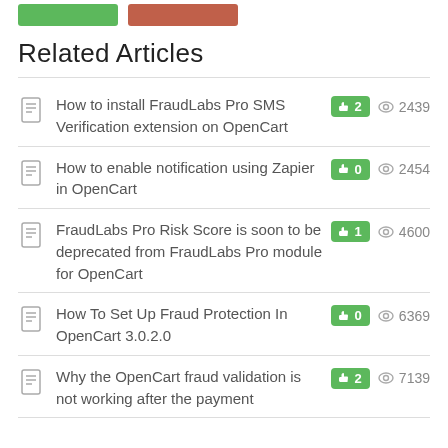Related Articles
How to install FraudLabs Pro SMS Verification extension on OpenCart
How to enable notification using Zapier in OpenCart
FraudLabs Pro Risk Score is soon to be deprecated from FraudLabs Pro module for OpenCart
How To Set Up Fraud Protection In OpenCart 3.0.2.0
Why the OpenCart fraud validation is not working after the payment